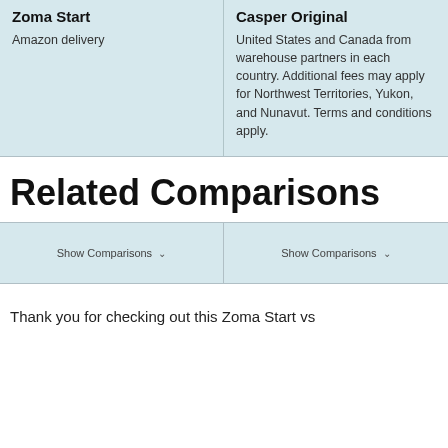| Zoma Start | Casper Original |
| --- | --- |
| Amazon delivery | United States and Canada from warehouse partners in each country. Additional fees may apply for Northwest Territories, Yukon, and Nunavut. Terms and conditions apply. |
Related Comparisons
Show Comparisons
Show Comparisons
Thank you for checking out this Zoma Start vs